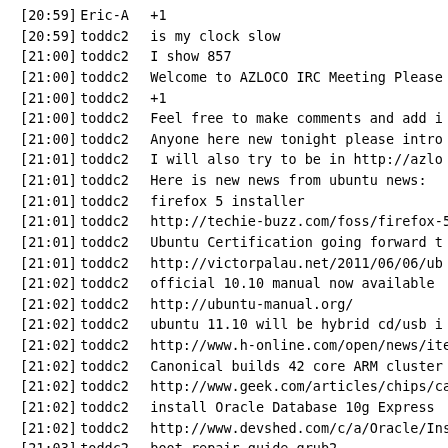[20:59] Eric-A  +1
[20:59] toddc2  is my clock slow
[21:00] toddc2  I show 857
[21:00] toddc2  Welcome to AZLOCO IRC Meeting Please
[21:00] toddc2  +1
[21:00] toddc2  Feel free to make comments and add i
[21:00] toddc2  Anyone here new tonight please intro
[21:01] toddc2  I will also try to be in http://azlo
[21:01] toddc2  Here is new news from ubuntu news:
[21:01] toddc2  firefox 5 installer
[21:01] toddc2  http://techie-buzz.com/foss/firefox-5
[21:01] toddc2  Ubuntu Certification going forward t
[21:01] toddc2  http://victorpalau.net/2011/06/06/ub
[21:02] toddc2  official 10.10 manual now available
[21:02] toddc2  http://ubuntu-manual.org/
[21:02] toddc2  ubuntu 11.10 will be hybrid cd/usb i
[21:02] toddc2  http://www.h-online.com/open/news/ite
[21:02] toddc2  Canonical builds 42 core ARM cluster
[21:02] toddc2  http://www.geek.com/articles/chips/ca
[21:02] toddc2  install Oracle Database 10g Express
[21:02] toddc2  http://www.devshed.com/c/a/Oracle/Ins
[21:03] toddc2  boot repair guide grub2
[21:03] toddc2  http://www.webupd8.org/2011/06/boot-